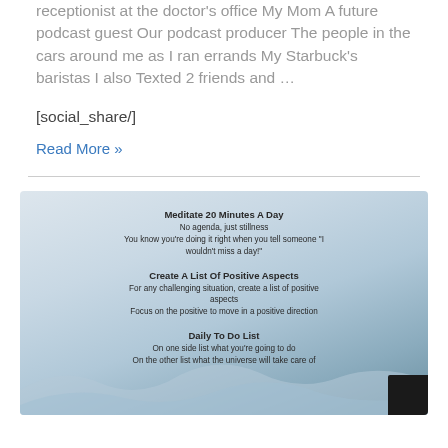receptionist at the doctor's office My Mom A future podcast guest Our podcast producer The people in the cars around me as I ran errands My Starbuck's baristas I also Texted 2 friends and …
[social_share/]
Read More »
[Figure (infographic): Infographic with mountain/sky background listing three mindfulness practices: 'Meditate 20 Minutes A Day', 'Create A List Of Positive Aspects', and 'Daily To Do List' with descriptions for each.]